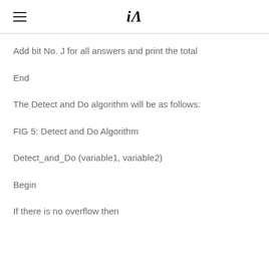iA
Add bit No. J for all answers and print the total
End
The Detect and Do algorithm will be as follows:
FIG 5: Detect and Do Algorithm
Detect_and_Do (variable1, variable2)
Begin
If there is no overflow then